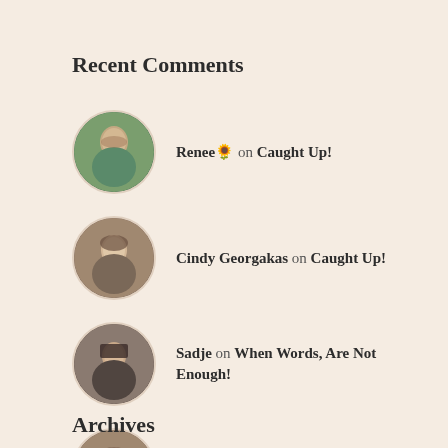Recent Comments
Renee🌻 on Caught Up!
Cindy Georgakas on Caught Up!
Sadje on When Words, Are Not Enough!
Cindy Georgakas on When Words, Are Not Enough!
Warren Richards on When Words, Are Not Enough!
Archives